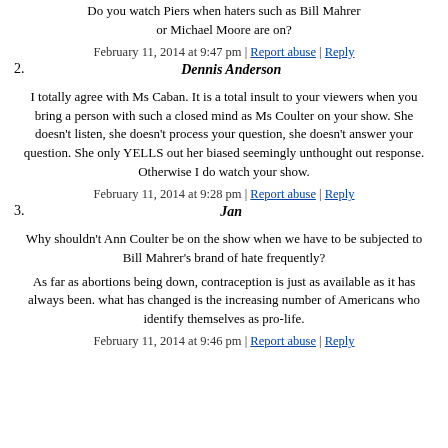Do you watch Piers when haters such as Bill Mahrer or Michael Moore are on?
February 11, 2014 at 9:47 pm | Report abuse | Reply
2. Dennis Anderson
I totally agree with Ms Caban. It is a total insult to your viewers when you bring a person with such a closed mind as Ms Coulter on your show. She doesn't listen, she doesn't process your question, she doesn't answer your question. She only YELLS out her biased seemingly unthought out response. Otherwise I do watch your show.
February 11, 2014 at 9:28 pm | Report abuse | Reply
3. Jan
Why shouldn't Ann Coulter be on the show when we have to be subjected to Bill Mahrer's brand of hate frequently?
As far as abortions being down, contraception is just as available as it has always been. what has changed is the increasing number of Americans who identify themselves as pro-life.
February 11, 2014 at 9:46 pm | Report abuse | Reply